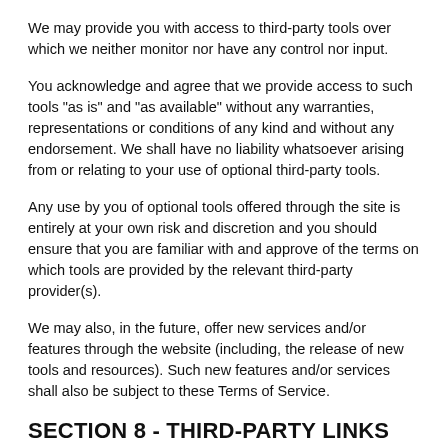We may provide you with access to third-party tools over which we neither monitor nor have any control nor input.
You acknowledge and agree that we provide access to such tools "as is" and "as available" without any warranties, representations or conditions of any kind and without any endorsement. We shall have no liability whatsoever arising from or relating to your use of optional third-party tools.
Any use by you of optional tools offered through the site is entirely at your own risk and discretion and you should ensure that you are familiar with and approve of the terms on which tools are provided by the relevant third-party provider(s).
We may also, in the future, offer new services and/or features through the website (including, the release of new tools and resources). Such new features and/or services shall also be subject to these Terms of Service.
SECTION 8 - THIRD-PARTY LINKS
Certain content, products and services available via our Service